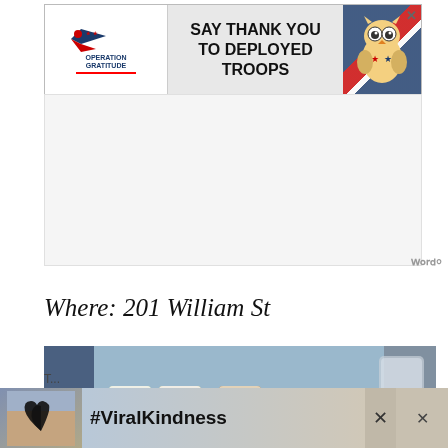[Figure (infographic): Operation Gratitude advertisement banner: 'SAY THANK YOU TO DEPLOYED TROOPS' with logo on left showing eagle/stars and red line, patriotic owl mascot on right with American flag pattern background]
Where: 201 William St
[Figure (photo): Photo of a beer flight sampler with 5 small glasses of different colored beers (pale green, light yellow, amber/brown, amber, and red/dark) in a wooden holder on a bar counter. A Waterfront Brewery menu card is visible in front.]
[Figure (infographic): #ViralKindness advertisement banner with heart-shaped hands silhouette against a sunset background]